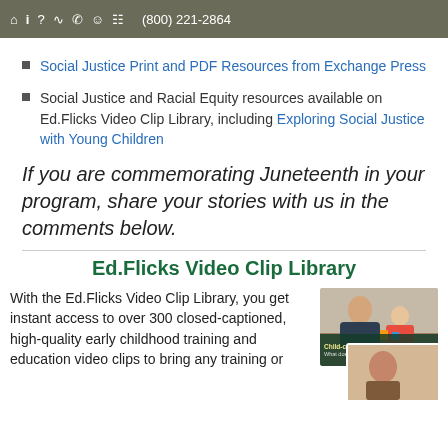(800) 221-2864
Social Justice Print and PDF Resources from Exchange Press
Social Justice and Racial Equity resources available on Ed.Flicks Video Clip Library, including Exploring Social Justice with Young Children
If you are commemorating Juneteenth in your program, share your stories with us in the comments below.
Ed.Flicks Video Clip Library
With the Ed.Flicks Video Clip Library, you get instant access to over 300 closed-captioned, high-quality early childhood training and education video clips to bring any training or
[Figure (photo): Two overlapping photos: top photo shows a woman with a child in a classroom setting; bottom photo shows a person with text overlay reading 'Child-centered Approach' and 'What does the child need?']